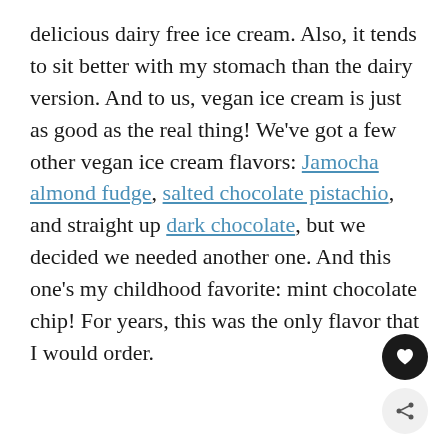delicious dairy free ice cream. Also, it tends to sit better with my stomach than the dairy version. And to us, vegan ice cream is just as good as the real thing! We've got a few other vegan ice cream flavors: Jamocha almond fudge, salted chocolate pistachio, and straight up dark chocolate, but we decided we needed another one. And this one's my childhood favorite: mint chocolate chip! For years, this was the only flavor that I would order.
[Figure (other): Heart icon button (dark circle) and share icon button (light circle) in bottom-right corner]